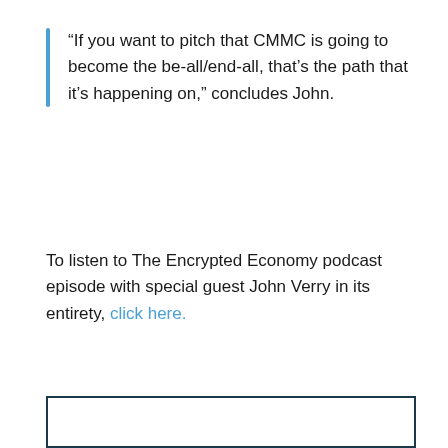“If you want to pitch that CMMC is going to become the be-all/end-all, that’s the path that it’s happening on,” concludes John.
To listen to The Encrypted Economy podcast episode with special guest John Verry in its entirety, click here.
[Figure (other): Empty bordered box at bottom of page]